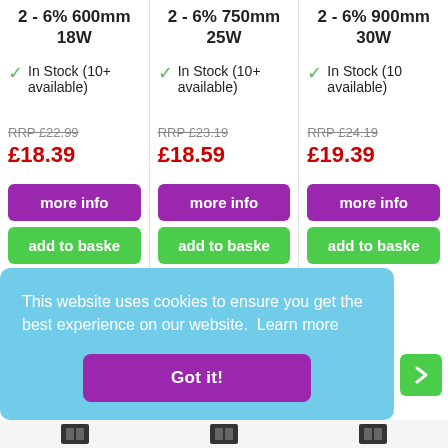Ferguson Zone 2 - 6% 600mm 18W
In Stock (10+ available)
RRP £22.99
£18.39
more info
add to basket
Ferguson Zone 2 - 6% 750mm 25W
In Stock (10+ available)
RRP £23.19
£18.59
more info
add to basket
Ferguson Zone 2 - 6% 900mm 30W
In Stock (10 available)
RRP £24.19
£19.39
more info
add to basket
This website uses cookies to ensure you get the best experience on our website.  Learn more
Got it!